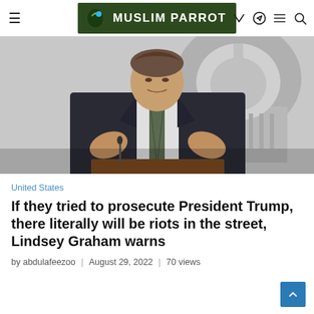Muslim Parrot
[Figure (photo): A man in a dark suit and striped tie gesturing with both hands at a podium, with a large domed government building (US Capitol) visible in the background, in black and white.]
United States
If they tried to prosecute President Trump, there literally will be riots in the street, Lindsey Graham warns
by abdulafeezoo | August 29, 2022 | 70 views